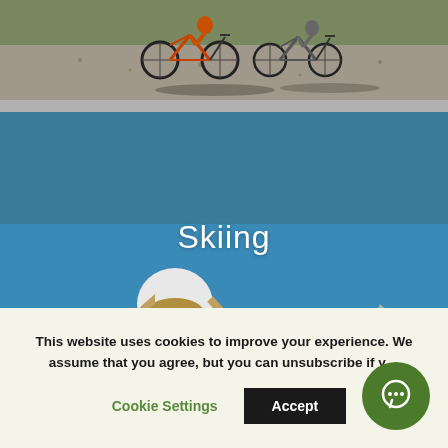[Figure (photo): Mountain bikers on a gravel path, viewed from above, with green grass and shadows visible.]
[Figure (photo): A skier in a red jacket and white helmet carving down a snowy slope with blue sky and mountains in the background. Text overlay reads 'Skiing'.]
This website uses cookies to improve your experience. We assume that you agree, but you can unsubscribe if you wish.
Cookie Settings
Accept